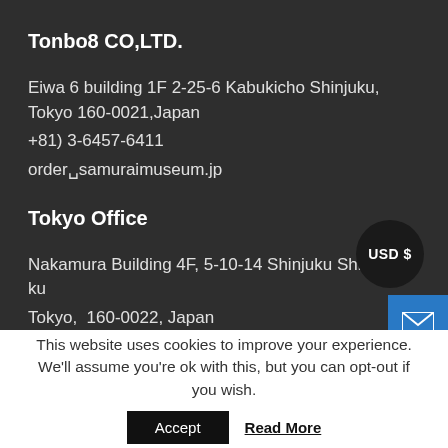Tonbo8 CO,LTD.
Eiwa 6 building 1F 2-25-6 Kabukicho Shinjuku, Tokyo 160-0021,Japan
+81) 3-6457-6411
order@samuraimuseum.jp
Tokyo Office
Nakamura Building 4F, 5-10-14 Shinjuku Shinjuku-ku Tokyo,  160-0022, Japan
Kanazawa Branch-1 (Dolls Museum)
2-24-1 Nomachi, Kanazawa-shi, Ishikawa, 921-8031,
USD $
This website uses cookies to improve your experience. We'll assume you're ok with this, but you can opt-out if you wish.
Accept
Read More